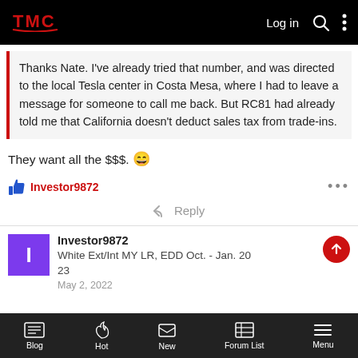TMC Logo | Log in
Thanks Nate. I've already tried that number, and was directed to the local Tesla center in Costa Mesa, where I had to leave a message for someone to call me back. But RC81 had already told me that California doesn't deduct sales tax from trade-ins.
They want all the $$$. 😄
Investor9872 reacted with like
Reply
Investor9872 - White Ext/Int MY LR, EDD Oct. - Jan. 20 23 - May 2, 2022
Blog | Hot | New | Forum List | Menu